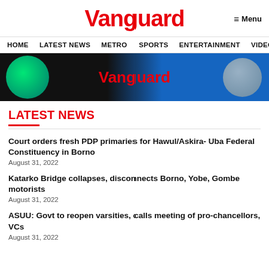Vanguard
Menu
HOME  LATEST NEWS  METRO  SPORTS  ENTERTAINMENT  VIDEOS
[Figure (illustration): Vanguard banner with green circle on left, Vanguard logo in center in red on dark background, light blue/grey circle on right]
LATEST NEWS
Court orders fresh PDP primaries for Hawul/Askira- Uba Federal Constituency in Borno
August 31, 2022
Katarko Bridge collapses, disconnects Borno, Yobe, Gombe motorists
August 31, 2022
ASUU: Govt to reopen varsities, calls meeting of pro-chancellors, VCs
August 31, 2022